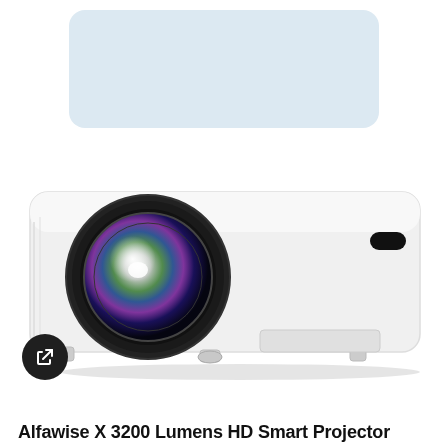[Figure (photo): White HD projector (Alfawise X 3200 Lumens) with colorful lens, viewed from front-left angle. A rounded-rectangle light blue card placeholder is shown above the projector. A dark circular share/reload button is at the bottom-left.]
Alfawise X 3200 Lumens HD Smart Projector